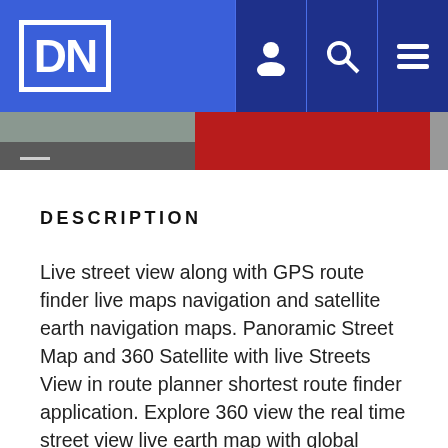DN [logo navigation bar with user, search, and menu icons]
[Figure (photo): Partial screenshot showing a street view and a red image strip at the top of the page content area]
DESCRIPTION
Live street view along with GPS route finder live maps navigation and satellite earth navigation maps. Panoramic Street Map and 360 Satellite with live Streets View in route planner shortest route finder application. Explore 360 view the real time street view live earth map with global street panorama view for all places. See the world famous places or search your area with live street view maps and navigation GPS route finder. Street view map renders 30 degree live